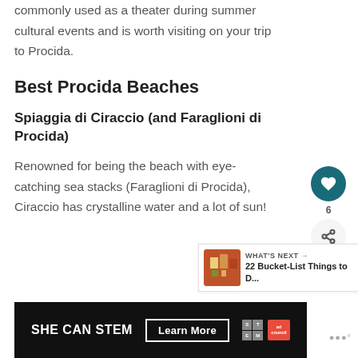commonly used as a theater during summer cultural events and is worth visiting on your trip to Procida.
Best Procida Beaches
Spiaggia di Ciraccio (and Faraglioni di Procida)
Renowned for being the beach with eye-catching sea stacks (Faraglioni di Procida), Ciraccio has crystalline water and a lot of sun!
[Figure (other): WHAT'S NEXT callout box with thumbnail image of a colorful building and text '22 Bucket-List Things to D...']
[Figure (other): Advertisement banner with dark background reading 'SHE CAN STEM Learn More' with STEM and Ad Council logos]